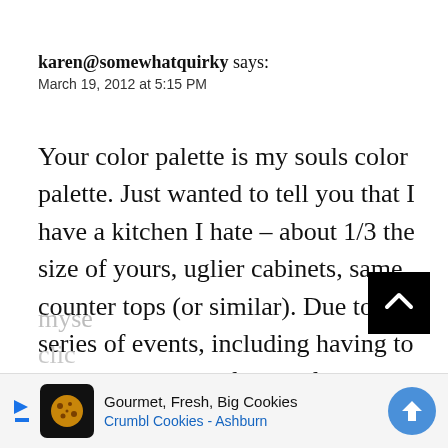karen@somewhatquirky says:
March 19, 2012 at 5:15 PM
Your color palette is my souls color palette. Just wanted to tell you that I have a kitchen I hate – about 1/3 the size of yours, uglier cabinets, same counter tops (or similar). Due to a series of events, including having to remove 3 inches of width from the cabinets next to a new fridge, I painted my cabinets white. I found myself...
[Figure (other): Black scroll-to-top button with white chevron arrow]
[Figure (other): Advertisement banner: Crumbl Cookies - Ashburn, Gourmet, Fresh, Big Cookies]